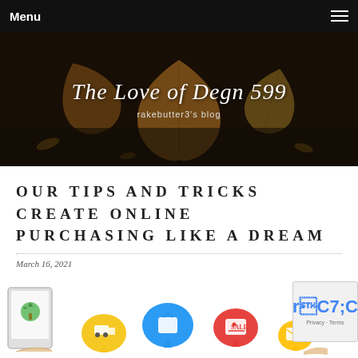Menu
[Figure (photo): Blog banner with autumn leaves on dark ground background, with cursive title 'The Love of Degn 599' and subtitle 'rakebutter3's blog']
OUR TIPS AND TRICKS CREATE ONLINE PURCHASING LIKE A DREAM
March 16, 2021
[Figure (illustration): Online shopping illustration with hands holding a tablet and colorful speech bubble icons representing shopping, delivery, sale, and email]